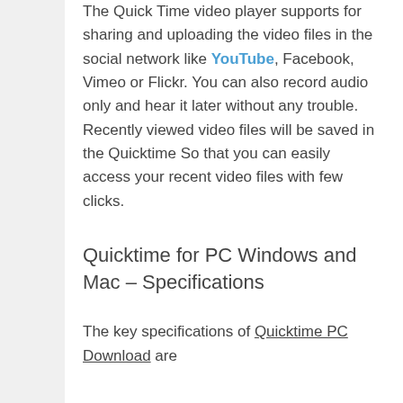The Quick Time video player supports for sharing and uploading the video files in the social network like YouTube, Facebook, Vimeo or Flickr. You can also record audio only and hear it later without any trouble. Recently viewed video files will be saved in the Quicktime So that you can easily access your recent video files with few clicks.
Quicktime for PC Windows and Mac – Specifications
The key specifications of Quicktime PC Download are